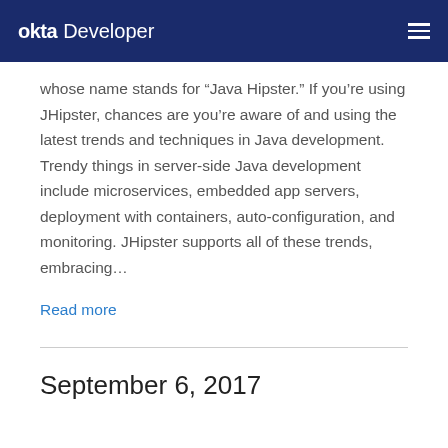okta Developer
whose name stands for “Java Hipster.” If you’re using JHipster, chances are you’re aware of and using the latest trends and techniques in Java development. Trendy things in server-side Java development include microservices, embedded app servers, deployment with containers, auto-configuration, and monitoring. JHipster supports all of these trends, embracing…
Read more
September 6, 2017